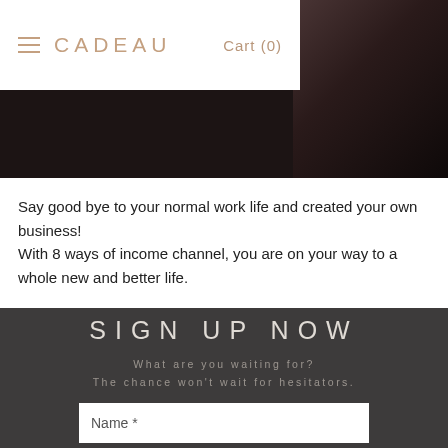CADEAU   Cart (0)
[Figure (photo): Hero banner image with dark background showing a partial portrait on the right side]
Say good bye to your normal work life and created your own business!
With 8 ways of income channel, you are on your way to a whole new and better life.
SIGN UP NOW
What are you waiting for?
The chance won't wait for hesitators.
Name *
Phone *
Email *